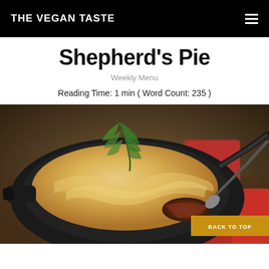THE VEGAN TASTE
Shepherd's Pie
Weekly Menu
Reading Time: 1 min ( Word Count: 235 )
[Figure (photo): A cast iron skillet filled with vegan shepherd's pie — a golden mashed potato topping over a rich lentil and vegetable filling — with a sprig of rosemary on top and a serving spoon, placed on a wooden table with a red cloth napkin in the background. A golden 'BACK TO TOP' button overlays the bottom-right corner.]